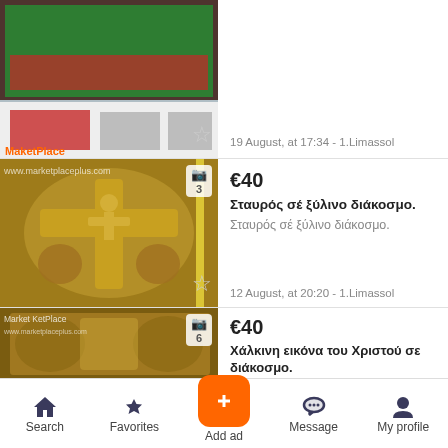[Figure (screenshot): Mobile marketplace app screenshot showing three product listings with thumbnail images, prices in euros, titles in Greek, and a bottom navigation bar with Search, Favorites, Add ad, Message, and My profile tabs.]
19 August, at 17:34 - 1.Limassol
€40
Σταυρός σέ ξύλινο διάκοσμο.
Σταυρός σέ ξύλινο διάκοσμο.
12 August, at 20:20 - 1.Limassol
€40
Χάλκινη εικόνα του Χριστού σε διάκοσμο.